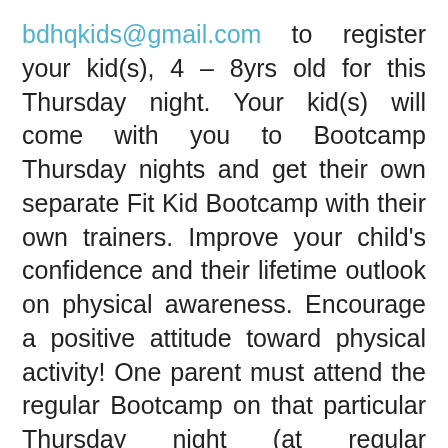bdhqkids@gmail.com to register your kid(s), 4 – 8yrs old for this Thursday night. Your kid(s) will come with you to Bootcamp Thursday nights and get their own separate Fit Kid Bootcamp with their own trainers. Improve your child's confidence and their lifetime outlook on physical awareness. Encourage a positive attitude toward physical activity! One parent must attend the regular Bootcamp on that particular Thursday night (at regular Bootcamp prices) in order for their kids to participate. Have to be a good role model and all :)
Must email bdhqkids@gmail.com in order for your child to attend! We need a head count before class each week.